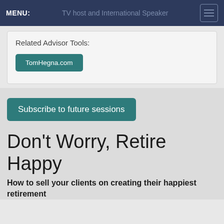MENU:  TV host and International Speaker
Related Advisor Tools:
TomHegna.com
Subscribe to future sessions
Don't Worry, Retire Happy
How to sell your clients on creating their happiest retirement